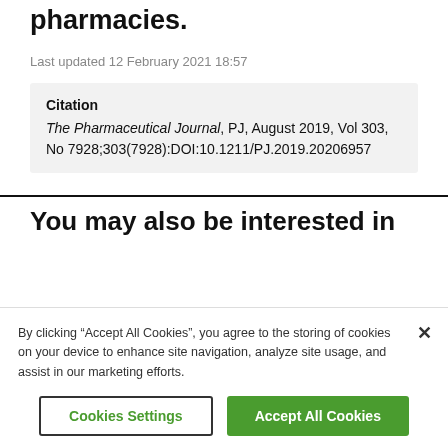pharmacies.
Last updated 12 February 2021 18:57
Citation
The Pharmaceutical Journal, PJ, August 2019, Vol 303, No 7928;303(7928):DOI:10.1211/PJ.2019.20206957
You may also be interested in
By clicking “Accept All Cookies”, you agree to the storing of cookies on your device to enhance site navigation, analyze site usage, and assist in our marketing efforts.
Cookies Settings
Accept All Cookies